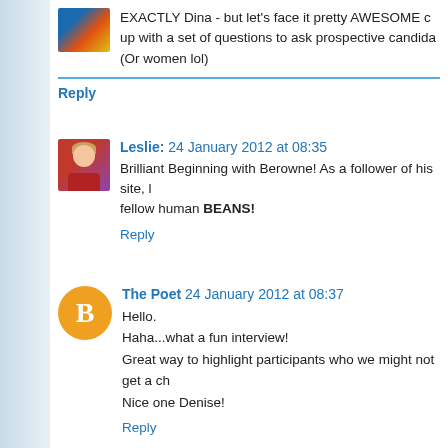EXACTLY Dina - but let's face it pretty AWESOME c... up with a set of questions to ask prospective candida... (Or women lol)
Reply
Leslie: 24 January 2012 at 08:35
Brilliant Beginning with Berowne! As a follower of his site, l... fellow human BEANS!
Reply
The Poet 24 January 2012 at 08:37
Hello.
Haha...what a fun interview!
Great way to highlight participants who we might not get a ch...
Nice one Denise!
Reply